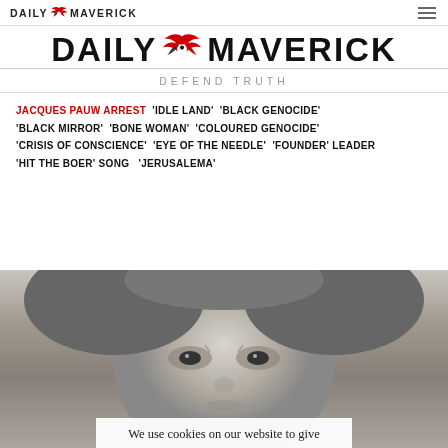DAILY MAVERICK
DAILY MAVERICK
DEFEND TRUTH
JACQUES PAUW ARREST  'IDLE LAND'  'BLACK GENOCIDE'  'BLACK MIRROR'  'BONE WOMAN'  'COLOURED GENOCIDE'  'CRISIS OF CONSCIENCE'  'EYE OF THE NEEDLE'  'FOUNDER' LEADER  'HIT THE BOER' SONG  'JERUSALEMA'
[Figure (photo): Black and white close-up portrait photograph of a man with curly/wavy hair]
We use cookies on our website to give